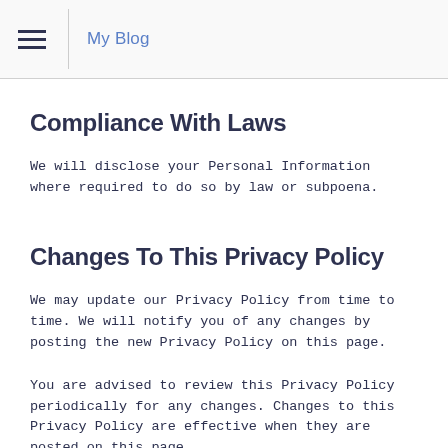My Blog
Compliance With Laws
We will disclose your Personal Information where required to do so by law or subpoena.
Changes To This Privacy Policy
We may update our Privacy Policy from time to time. We will notify you of any changes by posting the new Privacy Policy on this page.
You are advised to review this Privacy Policy periodically for any changes. Changes to this Privacy Policy are effective when they are posted on this page.
Contact Us